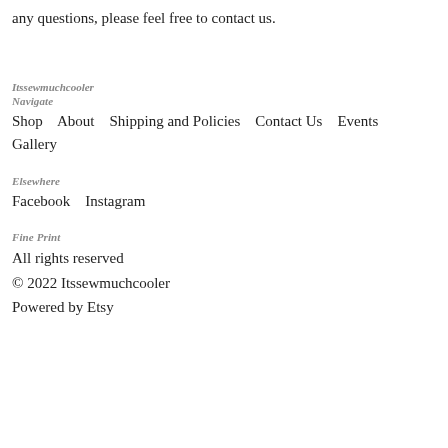any questions, please feel free to contact us.
Itssewmuchcooler
Navigate
Shop   About   Shipping and Policies   Contact Us   Events Gallery
Elsewhere
Facebook   Instagram
Fine Print
All rights reserved
© 2022 Itssewmuchcooler
Powered by Etsy